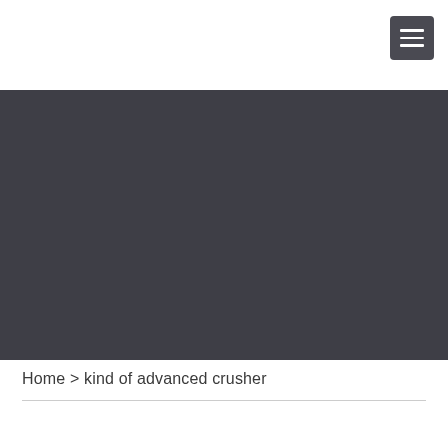[Figure (photo): Dark gray hero image area, likely a banner or background image for an industrial/engineering website page]
Home > kind of advanced crusher